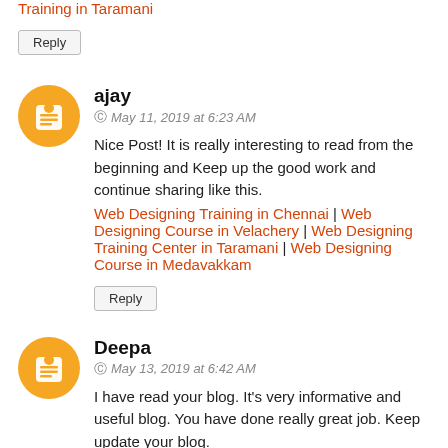Training in Taramani (link, top)
Reply
ajay
May 11, 2019 at 6:23 AM
Nice Post! It is really interesting to read from the beginning and Keep up the good work and continue sharing like this.
Web Designing Training in Chennai | Web Designing Course in Velachery | Web Designing Training Center in Taramani | Web Designing Course in Medavakkam
Reply
Deepa
May 13, 2019 at 6:42 AM
I have read your blog. It's very informative and useful blog. You have done really great job. Keep update your blog.
Microsoft Azure Training in Chennai | Microsoft Azure Training in Taramani | Microsoft Azure Course in Velachery | Microsoft Azure Training in Keelkattalai